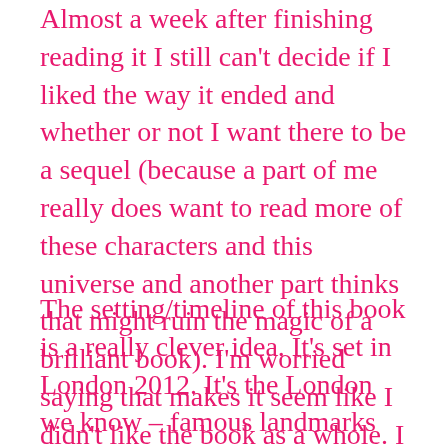Almost a week after finishing reading it I still can't decide if I liked the way it ended and whether or not I want there to be a sequel (because a part of me really does want to read more of these characters and this universe and another part thinks that might ruin the magic of a brilliant book). I'm worried saying that makes it seem like I didn't like the book as a whole. I did, I really loved it.
The setting/timeline of this book is a really clever idea. It's set in London 2012. It's the London we know – famous landmarks are mentioned and the Olympics are about to happen as it starts. The characters eat Galaxy chocolate and watch University Challenge. But it's also not the London or the 2012 we know